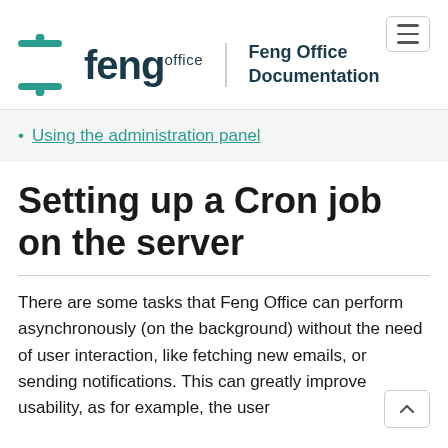[Figure (logo): Feng Office logo with navigation header showing brand name and 'Feng Office Documentation' text, plus hamburger menu button]
Using the administration panel
Setting up a Cron job on the server
There are some tasks that Feng Office can perform asynchronously (on the background) without the need of user interaction, like fetching new emails, or sending notifications. This can greatly improve usability, as for example, the user